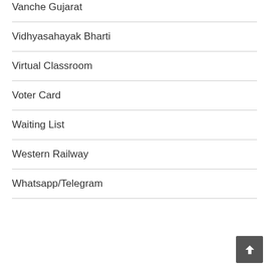Vanche Gujarat
Vidhyasahayak Bharti
Virtual Classroom
Voter Card
Waiting List
Western Railway
Whatsapp/Telegram